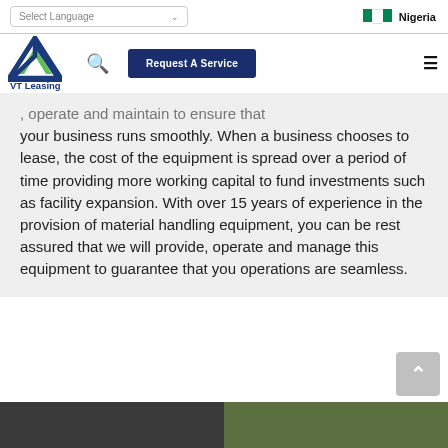Select Language | Nigeria
[Figure (logo): VT Leasing logo with blue and green triangle/arrow shape]
, operate and maintain to ensure that your business runs smoothly. When a business chooses to lease, the cost of the equipment is spread over a period of time providing more working capital to fund investments such as facility expansion. With over 15 years of experience in the provision of material handling equipment, you can be rest assured that we will provide, operate and manage this equipment to guarantee that you operations are seamless.
[Figure (photo): Two photos at bottom of page showing people/equipment]